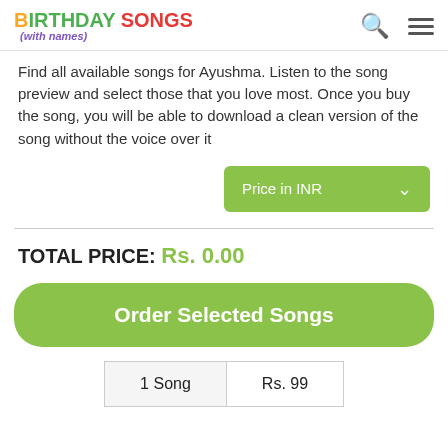BIRTHDAY SONGS (with names)
Find all available songs for Ayushma. Listen to the song preview and select those that you love most. Once you buy the song, you will be able to download a clean version of the song without the voice over it
Price in INR
TOTAL PRICE: Rs. 0.00
Order Selected Songs
| 1 Song | Rs. 99 |
| --- | --- |
| 1 Song | Rs. 99 |